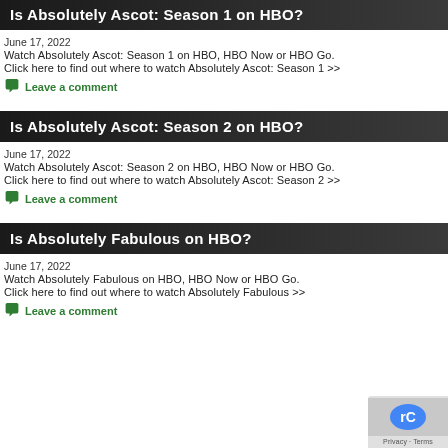Is Absolutely Ascot: Season 1 on HBO?
June 17, 2022
Watch Absolutely Ascot: Season 1 on HBO, HBO Now or HBO Go.
Click here to find out where to watch Absolutely Ascot: Season 1 >>
Leave a comment
Is Absolutely Ascot: Season 2 on HBO?
June 17, 2022
Watch Absolutely Ascot: Season 2 on HBO, HBO Now or HBO Go.
Click here to find out where to watch Absolutely Ascot: Season 2 >>
Leave a comment
Is Absolutely Fabulous on HBO?
June 17, 2022
Watch Absolutely Fabulous on HBO, HBO Now or HBO Go.
Click here to find out where to watch Absolutely Fabulous >>
Leave a comment